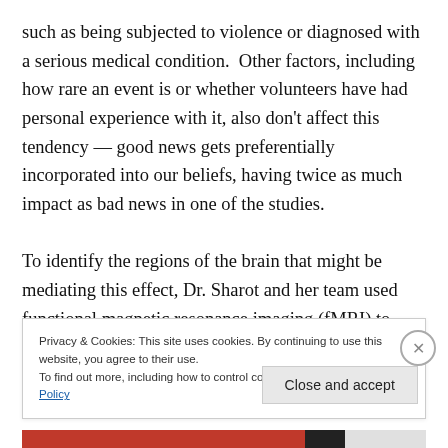such as being subjected to violence or diagnosed with a serious medical condition.  Other factors, including how rare an event is or whether volunteers have had personal experience with it, also don't affect this tendency — good news gets preferentially incorporated into our beliefs, having twice as much impact as bad news in one of the studies.

To identify the regions of the brain that might be mediating this effect, Dr. Sharot and her team used functional magnetic resonance imaging (fMRI) to measure the
Privacy & Cookies: This site uses cookies. By continuing to use this website, you agree to their use.
To find out more, including how to control cookies, see here: Cookie Policy
Close and accept